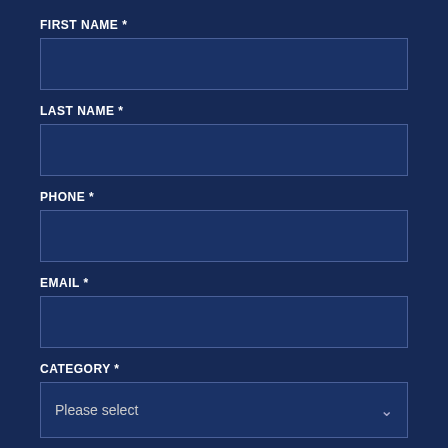FIRST NAME *
[Figure (other): Text input field for first name]
LAST NAME *
[Figure (other): Text input field for last name]
PHONE *
[Figure (other): Text input field for phone]
EMAIL *
[Figure (other): Text input field for email]
CATEGORY *
[Figure (other): Dropdown select field with placeholder 'Please select']
HOW CAN WE HELP? *